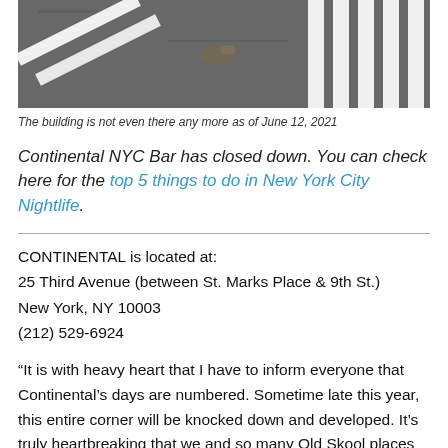[Figure (photo): Aerial or street-level photo of a road intersection showing asphalt with white crosswalk markings and road markings]
The building is not even there any more as of June 12, 2021
Continental NYC Bar has closed down. You can check here for the top 5 things to do in New York City Nightlife.
CONTINENTAL is located at:
25 Third Avenue (between St. Marks Place & 9th St.)
New York, NY 10003
(212) 529-6924
“It is with heavy heart that I have to inform everyone that Continental’s days are numbered. Sometime late this year, this entire corner will be knocked down and developed. It’s truly heartbreaking that we and so many Old Skool places are falling by the wayside but unless you own your building that’s